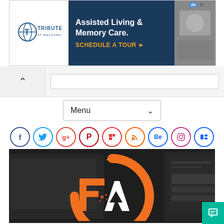[Figure (screenshot): Advertisement banner for Tribute at Melford Assisted Living & Memory Care with schedule a tour CTA]
[Figure (screenshot): Browser navigation bar with back button and search bar]
Menu
[Figure (infographic): Social media icon row with Facebook, Twitter, Google+, Pinterest, Flipboard, RSS, Behance, Instagram, Dribbble icons]
[Figure (logo): Hero image with dark background showing FA (FreelanceAdvisor or similar) orange and white logo with circular arrow design on top of monitor/device screenshot background]